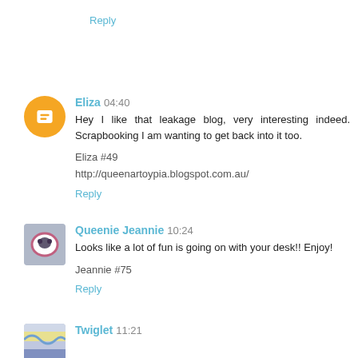Reply
Eliza 04:40
Hey I like that leakage blog, very interesting indeed. Scrapbooking I am wanting to get back into it too.

Eliza #49
http://queenartoypia.blogspot.com.au/
Reply
Queenie Jeannie 10:24
Looks like a lot of fun is going on with your desk!! Enjoy!

Jeannie #75
Reply
Twiglet 11:21